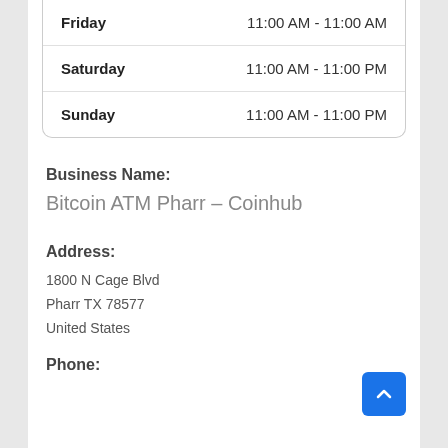| Day | Hours |
| --- | --- |
| Friday | 11:00 AM - 11:00 AM |
| Saturday | 11:00 AM - 11:00 PM |
| Sunday | 11:00 AM - 11:00 PM |
Business Name:
Bitcoin ATM Pharr – Coinhub
Address:
1800 N Cage Blvd
Pharr TX 78577
United States
Phone: